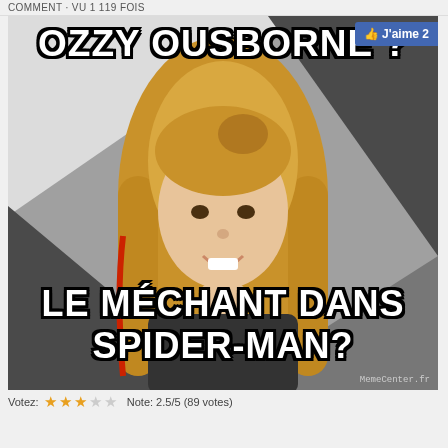COMMENT · VU 1 119 FOIS
[Figure (photo): Internet meme featuring a young blonde girl against a geometric grey/white/dark background. Top text reads 'OZZY OUSBORNE?' and bottom text reads 'LE MÉCHANT DANS SPIDER-MAN?' with MemeCenter.fr watermark. A Facebook 'J'aime 2' button appears in the top right corner.]
Votez: ★★★☆☆ Note: 2.5/5 (89 votes)